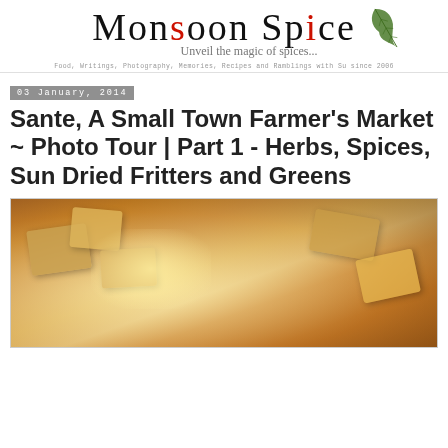[Figure (logo): Monsoon Spice blog logo with cursive script text 'Monsoon Spice', tagline 'Unveil the magic of spices...', and a green leaf/herb illustration on the right. Subheader reads: Food, Writings, Photography, Memories, Recipes and Ramblings with Su since 2006]
Food, Writings, Photography, Memories, Recipes and Ramblings with Su since 2006
03 January, 2014
Sante, A Small Town Farmer's Market ~ Photo Tour | Part 1 - Herbs, Spices, Sun Dried Fritters and Greens
[Figure (photo): Close-up photo of wooden spice boxes or containers on a warm wooden surface, with a shallow depth of field and warm golden-brown tones. The image shows various small boxes/items scattered on what appears to be a market stall surface.]